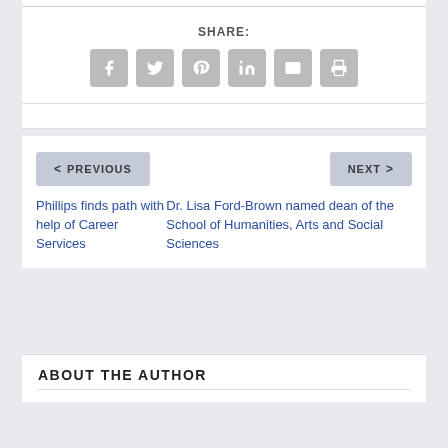SHARE:
[Figure (other): Social sharing icons: Facebook, Twitter, Pinterest, LinkedIn, Email, Print]
< PREVIOUS
NEXT >
Phillips finds path with help of Career Services
Dr. Lisa Ford-Brown named dean of the School of Humanities, Arts and Social Sciences
ABOUT THE AUTHOR